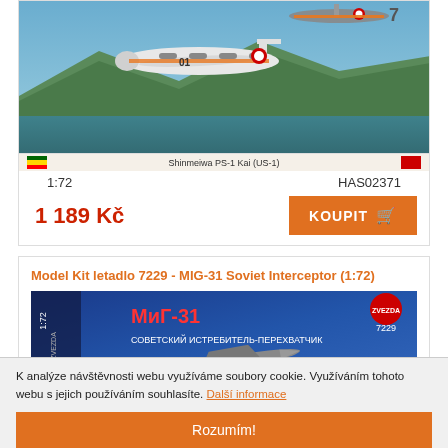[Figure (photo): Model kit box art showing Shinmeiwa PS-1 Kai (US-1) seaplane in flight over water with mountains]
Shinmeiwa PS-1 Kai (US-1)
1:72
HAS02371
1 189 Kč
KOUPIT
Model Kit letadlo 7229 - MIG-31 Soviet Interceptor (1:72)
[Figure (photo): Model kit box art for MIG-31 Soviet Interceptor showing box with Cyrillic text МиГ-31 Советский истребитель-перехватчик and aircraft image]
K analýze návštěvnosti webu využíváme soubory cookie. Využíváním tohoto webu s jejich používáním souhlasíte. Další informace
Rozumím!